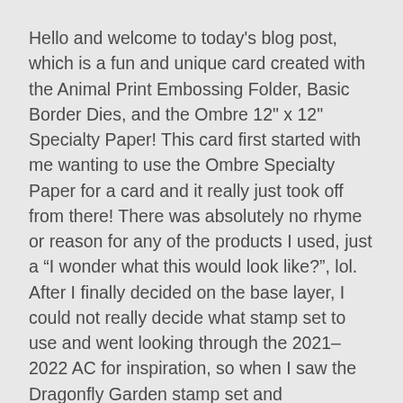Hello and welcome to today's blog post, which is a fun and unique card created with the Animal Print Embossing Folder, Basic Border Dies, and the Ombre 12" x 12" Specialty Paper! This card first started with me wanting to use the Ombre Specialty Paper for a card and it really just took off from there! There was absolutely no rhyme or reason for any of the products I used, just a “I wonder what this would look like?", lol. After I finally decided on the base layer, I could not really decide what stamp set to use and went looking through the 2021-2022 AC for inspiration, so when I saw the Dragonfly Garden stamp set and coordinating Dragonflies Punch I thought these would be perfect!